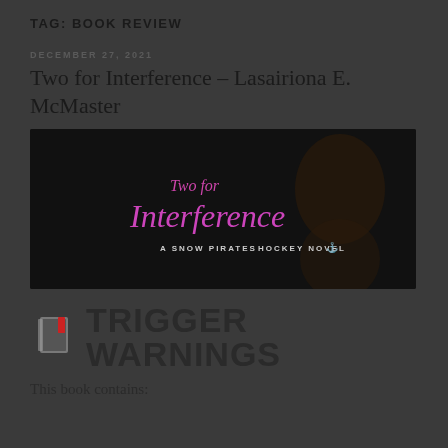TAG: BOOK REVIEW
DECEMBER 27, 2021
Two for Interference – Lasairiona E. McMaster
[Figure (photo): Book cover for 'Two for Interference – A Snow Pirates Hockey Novel' showing the title in purple/white script text on a dark background with a shirtless male figure]
[Figure (infographic): Trigger Warnings graphic with a book icon and large bold text reading TRIGGER WARNINGS]
This book contains: